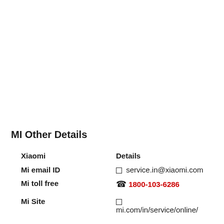MI Other Details
| Xiaomi | Details |
| --- | --- |
| Mi email ID | ☐ service.in@xiaomi.com |
| Mi toll free | ☎ 1800-103-6286 |
| Mi Site | ☐
mi.com/in/service/online/ |